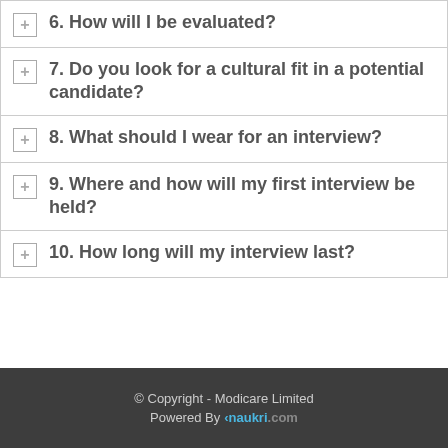6. How will I be evaluated?
7. Do you look for a cultural fit in a potential candidate?
8. What should I wear for an interview?
9. Where and how will my first interview be held?
10. How long will my interview last?
© Copyright - Modicare Limited
Powered By naukri.com